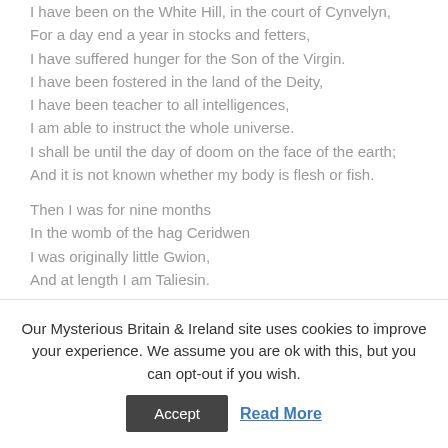I have been on the White Hill, in the court of Cynvelyn,
For a day end a year in stocks and fetters,
I have suffered hunger for the Son of the Virgin.
I have been fostered in the land of the Deity,
I have been teacher to all intelligences,
I am able to instruct the whole universe.
I shall be until the day of doom on the face of the earth;
And it is not known whether my body is flesh or fish.
Then I was for nine months
In the womb of the hag Ceridwen
I was originally little Gwion,
And at length I am Taliesin.
And when the king and his nobles had heard the song, they...
Our Mysterious Britain & Ireland site uses cookies to improve your experience. We assume you are ok with this, but you can opt-out if you wish.